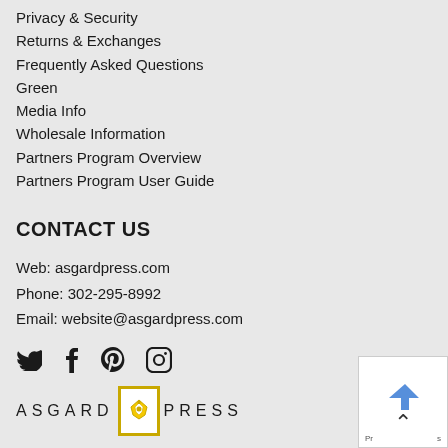Privacy & Security
Returns & Exchanges
Frequently Asked Questions
Green
Media Info
Wholesale Information
Partners Program Overview
Partners Program User Guide
CONTACT US
Web: asgardpress.com
Phone: 302-295-8992
Email: website@asgardpress.com
[Figure (infographic): Social media icons: Twitter, Facebook, Pinterest, Instagram]
[Figure (logo): Asgard Press logo with crown icon and text ASGARD PRESS]